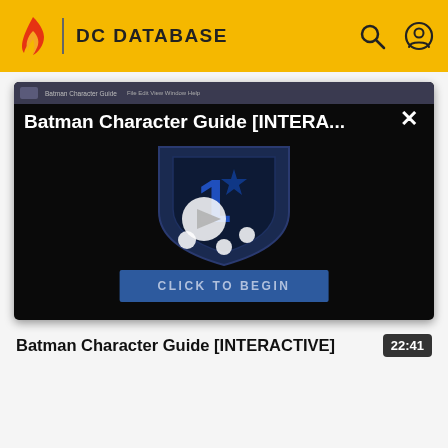DC DATABASE
[Figure (screenshot): Batman Character Guide [INTERACTIVE] video thumbnail showing a shield logo with play button overlay and CLICK TO BEGIN button]
Batman Character Guide [INTERACTIVE]
22:41